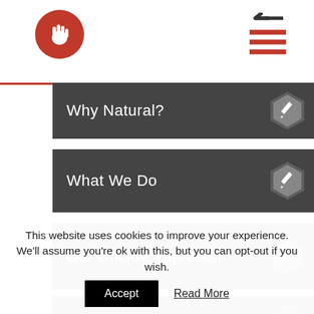Why Natural?
What We Do
Our Unique Approach
This website uses cookies to improve your experience. We'll assume you're ok with this, but you can opt-out if you wish.
Accept   Read More